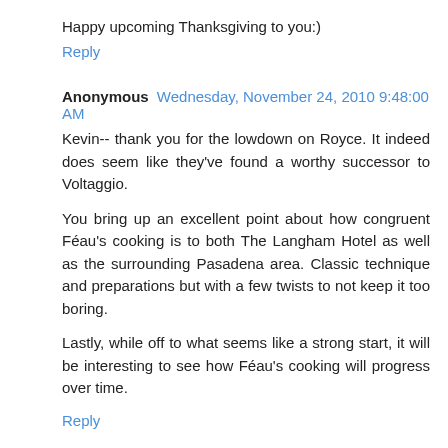Happy upcoming Thanksgiving to you:)
Reply
Anonymous Wednesday, November 24, 2010 9:48:00 AM
Kevin-- thank you for the lowdown on Royce. It indeed does seem like they've found a worthy successor to Voltaggio.
You bring up an excellent point about how congruent Féau's cooking is to both The Langham Hotel as well as the surrounding Pasadena area. Classic technique and preparations but with a few twists to not keep it too boring.
Lastly, while off to what seems like a strong start, it will be interesting to see how Féau's cooking will progress over time.
Reply